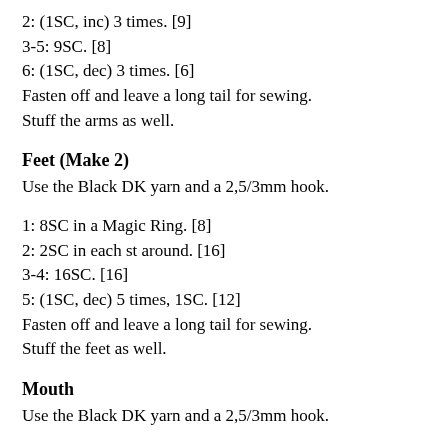2: (1SC, inc) 3 times. [9]
3-5: 9SC. [8]
6: (1SC, dec) 3 times. [6]
Fasten off and leave a long tail for sewing.
Stuff the arms as well.
Feet (Make 2)
Use the Black DK yarn and a 2,5/3mm hook.
1: 8SC in a Magic Ring. [8]
2: 2SC in each st around. [16]
3-4: 16SC. [16]
5: (1SC, dec) 5 times, 1SC. [12]
Fasten off and leave a long tail for sewing.
Stuff the feet as well.
Mouth
Use the Black DK yarn and a 2,5/3mm hook.
Make 8Ch.
Fasten off and leave a long tail for sewing.
Assembling
Whenever I start to assemble an Amigurumi, I use sewing pins to...